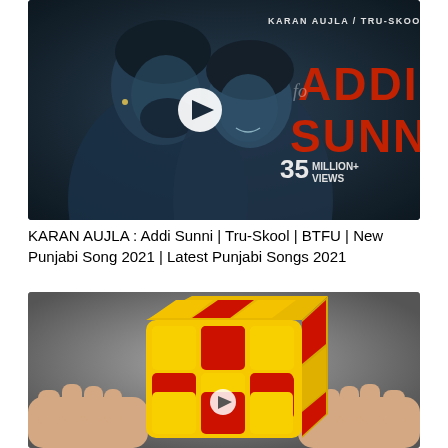[Figure (screenshot): YouTube video thumbnail showing a couple in dark blue-tinted monochrome photo. Text overlay: 'KARAN AUJLA / TRU-SKOOL', 'ADDI SUNNI', '35 MILLION+ VIEWS'. White play button circle in center.]
KARAN AUJLA : Addi Sunni | Tru-Skool | BTFU | New Punjabi Song 2021 | Latest Punjabi Songs 2021
[Figure (screenshot): Video thumbnail showing a yellow and red Rubik's cube being held by hands against a dark grey background. Small white play button circle visible on the cube face.]